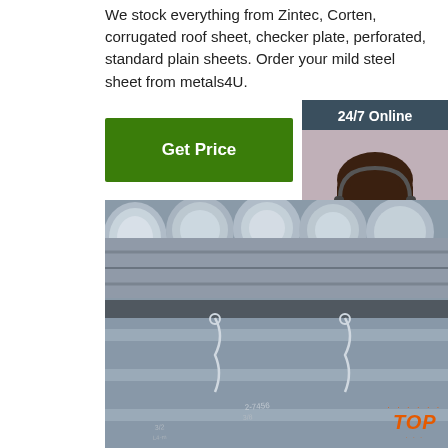We stock everything from Zintec, Corten, corrugated roof sheet, checker plate, perforated, standard plain sheets. Order your mild steel sheet from metals4U.
[Figure (other): Green 'Get Price' button]
[Figure (other): Sidebar with '24/7 Online' header, customer service representative photo wearing headset, 'Click here for free chat!' text, and orange QUOTATION button]
[Figure (photo): Photo of stacked steel round bars/rods with wire bindings and markings, showing bundles of metallic grey cylindrical bars]
[Figure (other): Orange 'TOP' badge with decorative dots in bottom-right corner]